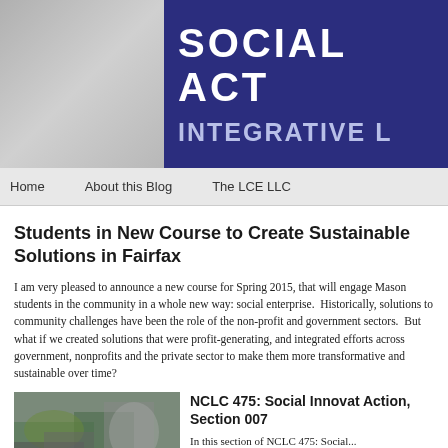[Figure (screenshot): Website header banner with dark navy blue background showing 'SOCIAL ACT...' and 'INTEGRATIVE L...' in large white bold text, with a gray area on the left]
Home    About this Blog    The LCE LLC
Students in New Course to Create Sustainable Solutions in Fairfax
I am very pleased to announce a new course for Spring 2015, that will engage Mason students in the community in a whole new way: social enterprise.  Historically, solutions to community challenges have been the role of the non-profit and government sectors.  But what if we created solutions that were profit-generating, and integrated efforts across government, nonprofits and the private sector to make them more transformative and sustainable over time?
[Figure (photo): Photo showing hands and green leaves, people gathered together]
NCLC 475: Social Innovation Action, Section 007
In this section of NCLC 475: Social...